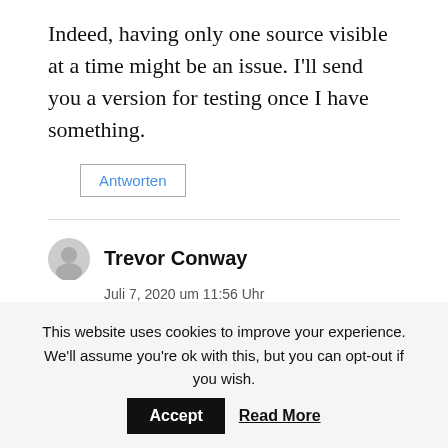Indeed, having only one source visible at a time might be an issue. I'll send you a version for testing once I have something.
Antworten
Trevor Conway
Juli 7, 2020 um 11:56 Uhr
Hi Nils
This website uses cookies to improve your experience. We'll assume you're ok with this, but you can opt-out if you wish. Accept Read More